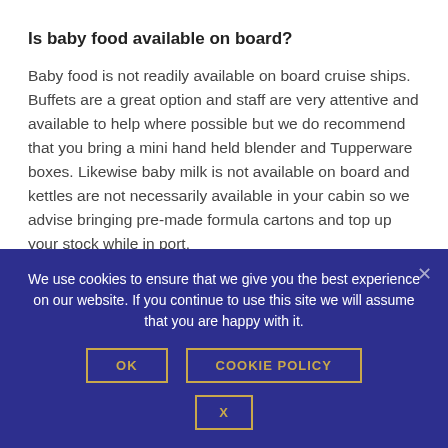Is baby food available on board?
Baby food is not readily available on board cruise ships. Buffets are a great option and staff are very attentive and available to help where possible but we do recommend that you bring a mini hand held blender and Tupperware boxes. Likewise baby milk is not available on board and kettles are not necessarily available in your cabin so we advise bringing pre-made formula cartons and top up your stock while in port.
Can I go on shore excursions with babies or toddlers?
There are family friendly shore excursions available to book
We use cookies to ensure that we give you the best experience on our website. If you continue to use this site we will assume that you are happy with it.